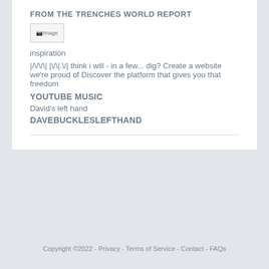FROM THE TRENCHES WORLD REPORT
[Figure (photo): Broken image placeholder labeled 'Image']
inspiration
|/\/\/\| |\//\|.\//| think i will - in a few... dig? Create a website we're proud of Discover the platform that gives you that freedom
YOUTUBE MUSIC
David's left hand
DAVEBUCKLESLEFTHAND
Copyright ©2022 - Privacy - Terms of Service - Contact - FAQs